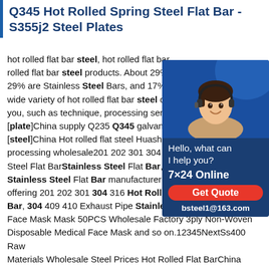Q345 Hot Rolled Spring Steel Flat Bar - S355j2 Steel Plates
hot rolled flat bar steel, hot rolled flat bar rolled flat bar steel products. About 29% 29% are Stainless Steel Bars, and 17% a wide variety of hot rolled flat bar steel op you, such as technique, processing servi [plate]China supply Q235 Q345 galvaniz [steel]China Hot rolled flat steel Huashen processing wholesale201 202 301 304 3 Steel Flat BarStainless Steel Flat Bar, S Stainless Steel Flat Bar manufacturer / supplier in China, offering 201 202 301 304 316 Hot Rolled Stainless Steel Flat Bar, 304 409 410 Exhaust Pipe Stainless Steel Welded Pipe, Face Mask Mask 50PCS Wholesale Factory 3ply Non-Woven Disposable Medical Face Mask and so on.12345NextSs400 Raw Materials Wholesale Steel Prices Hot Rolled Flat BarChina Ss400
[Figure (photo): Customer service representative with headset on blue background, with chat widget showing 'Hello, what can I help you?', '7x24 Online', 'Get Quote' button, and 'bsteel1@163.com']